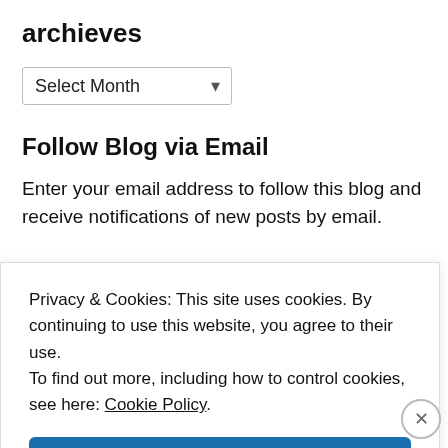archieves
[Figure (other): A dropdown selector showing 'Select Month' with a chevron arrow]
Follow Blog via Email
Enter your email address to follow this blog and receive notifications of new posts by email.
Privacy & Cookies: This site uses cookies. By continuing to use this website, you agree to their use.
To find out more, including how to control cookies, see here: Cookie Policy
Close and accept